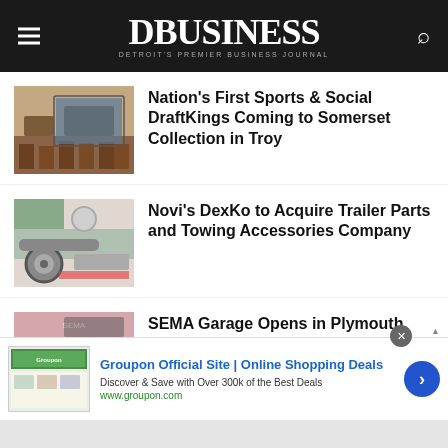DBusiness — Detroit's Premier Business Journal
Nation's First Sports & Social DraftKings Coming to Somerset Collection in Troy
Novi's DexKo to Acquire Trailer Parts and Towing Accessories Company
SEMA Garage Opens in Plymouth Township, Test Center for Auto Aftermarket Manufacturers
Groupon Official Site | Online Shopping Deals — Discover & Save with Over 300k of the Best Deals — www.groupon.com